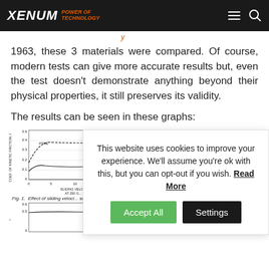XENUM POWER OF TECHNOLOGY
1963, these 3 materials were compared. Of course, modern tests can give more accurate results but, even the test doesn't demonstrate anything beyond their physical properties, it still preserves its validity.
The results can be seen in these graphs:
[Figure (continuous-plot): Graph showing coefficient of kinetic friction (f) vs sliding velocity at 250g for PTFE and another material. Two curves visible: upper curve labeled PTFE (dashed, ~0.35), lower curve (~0.15). Y-axis: COEF. OF KINETIC FRICTION, f, range 0 to 0.6. X-axis: SLIDING VELOCITY AT 250 G. Caption: Fig. 1. Effect of sliding velocity on friction of solid lubricants under approximate conditions.]
[Figure (continuous-plot): Second graph partially visible, right side of page. Label: DRY STEEL visible at top. Y-axis range 0 to 0.6. Partial view.]
This website uses cookies to improve your experience. We'll assume you're ok with this, but you can opt-out if you wish. Read More
[Figure (continuous-plot): Bottom left partial graph, showing friction curve, y-axis f range ~0 to 0.6 visible.]
[Figure (continuous-plot): Bottom right partial graph, partially visible.]